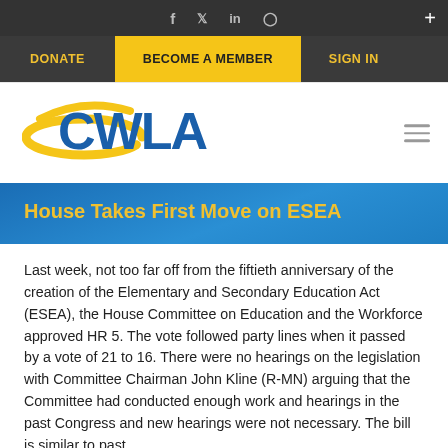Social media icons: Facebook, Twitter, LinkedIn, Instagram
DONATE | BECOME A MEMBER | SIGN IN
[Figure (logo): CWLA (Child Welfare League of America) logo with blue text and gold swoosh]
House Takes First Move on ESEA
Last week, not too far off from the fiftieth anniversary of the creation of the Elementary and Secondary Education Act (ESEA), the House Committee on Education and the Workforce approved HR 5. The vote followed party lines when it passed by a vote of 21 to 16. There were no hearings on the legislation with Committee Chairman John Kline (R-MN) arguing that the Committee had conducted enough work and hearings in the past Congress and new hearings were not necessary. The bill is similar to past